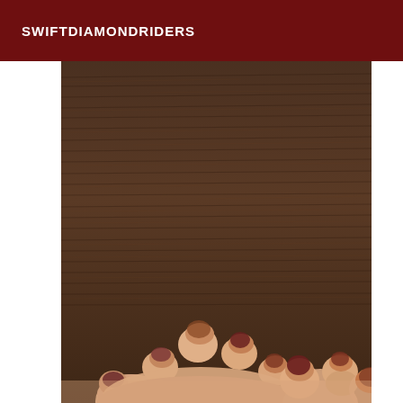SWIFTDIAMONDRIDERS
[Figure (photo): A photograph showing human toes/feet resting on a dark brown wood-grain surface. The toenails have dark polish (burgundy/brown). The image is taken from above looking down.]